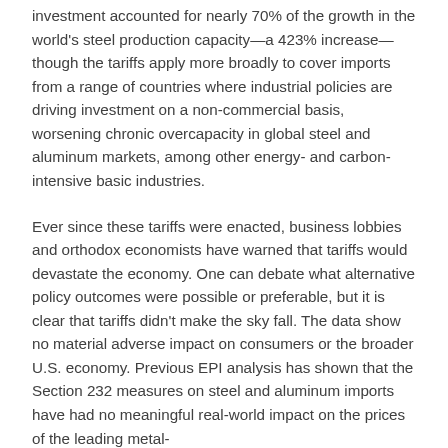investment accounted for nearly 70% of the growth in the world's steel production capacity—a 423% increase—though the tariffs apply more broadly to cover imports from a range of countries where industrial policies are driving investment on a non-commercial basis, worsening chronic overcapacity in global steel and aluminum markets, among other energy- and carbon-intensive basic industries.
Ever since these tariffs were enacted, business lobbies and orthodox economists have warned that tariffs would devastate the economy. One can debate what alternative policy outcomes were possible or preferable, but it is clear that tariffs didn't make the sky fall. The data show no material adverse impact on consumers or the broader U.S. economy. Previous EPI analysis has shown that the Section 232 measures on steel and aluminum imports have had no meaningful real-world impact on the prices of the leading metal-